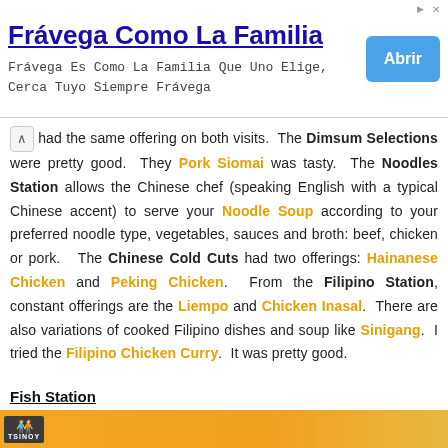[Figure (screenshot): Advertisement banner for Frávega Como La Familia with blue title, body text, and an 'Abrir' button]
had the same offering on both visits. The Dimsum Selections were pretty good. They Pork Siomai was tasty. The Noodles Station allows the Chinese chef (speaking English with a typical Chinese accent) to serve your Noodle Soup according to your preferred noodle type, vegetables, sauces and broth: beef, chicken or pork. The Chinese Cold Cuts had two offerings: Hainanese Chicken and Peking Chicken. From the Filipino Station, constant offerings are the Liempo and Chicken Inasal. There are also variations of cooked Filipino dishes and soup like Sinigang. I tried the Filipino Chicken Curry. It was pretty good.
Fish Station
[Figure (photo): Bottom portion of a food photo showing orange/golden colored food with a Tsinoy logo visible]